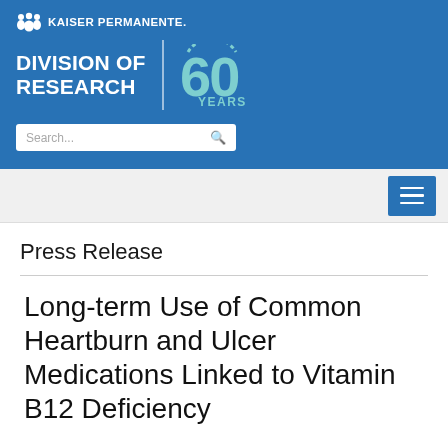[Figure (logo): Kaiser Permanente Division of Research logo with 60 Years anniversary mark on blue banner background with search bar]
Press Release
Long-term Use of Common Heartburn and Ulcer Medications Linked to Vitamin B12 Deficiency